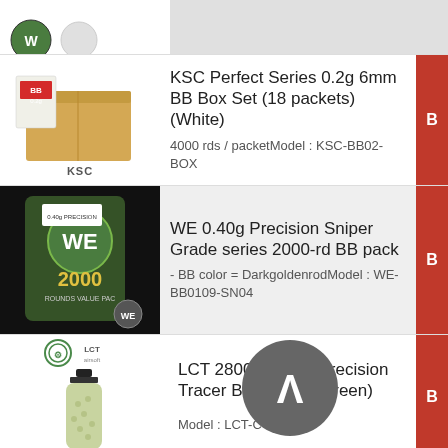[Figure (photo): Partial top row showing product image thumbnails and gray background area]
[Figure (photo): KSC BB box and packet product image]
KSC Perfect Series 0.2g 6mm BB Box Set (18 packets) (White)
4000 rds / packetModel :  KSC-BB02-BOX
[Figure (photo): WE 0.40g BB pack product image in black background]
WE 0.40g Precision Sniper Grade series 2000-rd BB pack
- BB color = DarkgoldenrodModel :  WE-BB0109-SN04
[Figure (photo): LCT airsoft logo and green tracer BB bottle product image]
LCT 2800rds 0.2g Precision Tracer BB Bullets (Green)
Model :  LCT-C-28